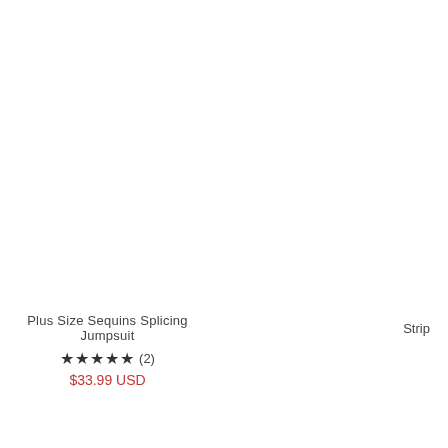Plus Size Sequins Splicing Jumpsuit
★★★★★ (2)
$33.99 USD
Strip